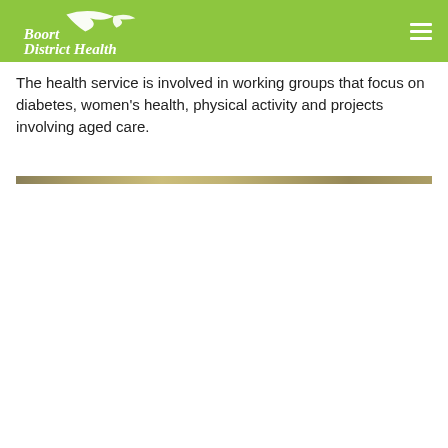Boort District Health
The health service is involved in working groups that focus on diabetes, women's health, physical activity and projects involving aged care.
[Figure (photo): A narrow horizontal decorative image strip showing a blurred outdoor or natural scene in muted olive/tan tones.]